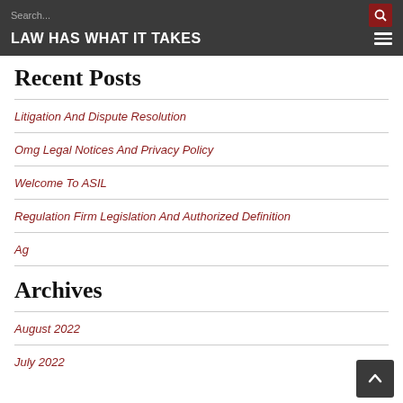LAW HAS WHAT IT TAKES
Recent Posts
Litigation And Dispute Resolution
Omg Legal Notices And Privacy Policy
Welcome To ASIL
Regulation Firm Legislation And Authorized Definition
Ag
Archives
August 2022
July 2022